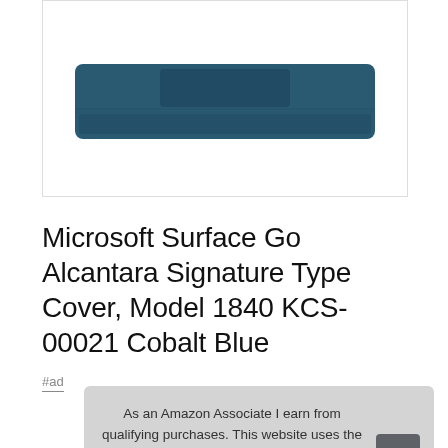[Figure (photo): Microsoft Surface Go Alcantara Signature Type Cover in Cobalt Blue color, viewed from above, showing keyboard and trackpad]
Microsoft Surface Go Alcantara Signature Type Cover, Model 1840 KCS-00021 Cobalt Blue
#ad
As an Amazon Associate I earn from qualifying purchases. This website uses the only necessary cookies to ensure you get the best experience on our website. More information